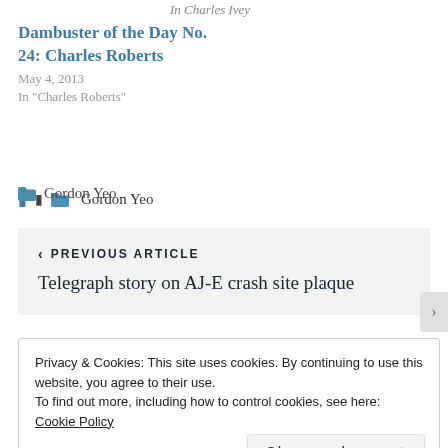In  Charles Ivey
Dambuster of the Day No. 24: Charles Roberts
May 4, 2013
In "Charles Roberts"
Gordon Yeo
PREVIOUS ARTICLE
Telegraph story on AJ-E crash site plaque
Privacy & Cookies: This site uses cookies. By continuing to use this website, you agree to their use.
To find out more, including how to control cookies, see here: Cookie Policy
Close and accept